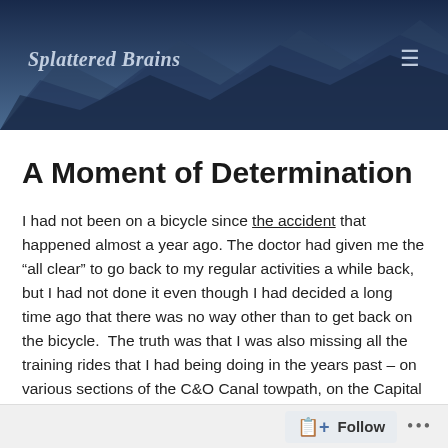Splattered Brains
A Moment of Determination
I had not been on a bicycle since the accident that happened almost a year ago. The doctor had given me the “all clear” to go back to my regular activities a while back, but I had not done it even though I had decided a long time ago that there was no way other than to get back on the bicycle.  The truth was that I was also missing all the training rides that I had being doing in the years past – on various sections of the C&O Canal towpath, on the Capital Crescent Trail into Bethesda
Follow ...